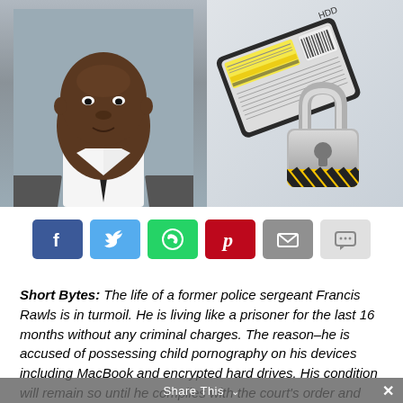[Figure (photo): Left half: mugshot-style photo of a Black man in a white shirt and dark tie against a grey background. Right half: illustration of an HDD hard drive with a padlock decorated with yellow and black warning stripes.]
[Figure (infographic): Social sharing buttons row: Facebook (blue, f), Twitter (light blue, bird), WhatsApp (green, phone), Pinterest (red, p), Email (grey, envelope), Chat (light grey, speech bubble)]
Short Bytes: The life of a former police sergeant Francis Rawls is in turmoil. He is living like a prisoner for the last 16 months without any criminal charges. The reason–he is accused of possessing child pornography on his devices including MacBook and encrypted hard drives. His condition will remain so until he complies with the court's order and decrypts